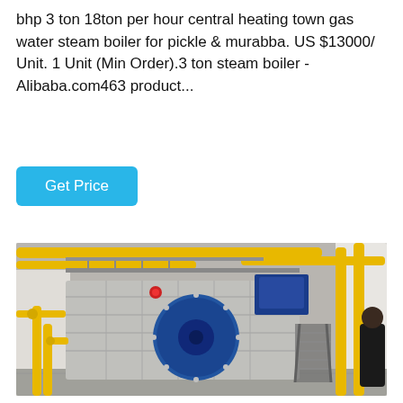bhp 3 ton 18ton per hour central heating town gas water steam boiler for pickle & murabba. US $13000/ Unit. 1 Unit (Min Order).3 ton steam boiler - Alibaba.com463 product...
[Figure (illustration): A cyan/teal 'Get Price' button]
[Figure (photo): Industrial steam boiler facility with large blue burner/motor on the front of a silver rectangular boiler body, yellow gas pipes running along the ceiling and walls, metal staircases, concrete floor, and a person in a black jacket visible at the far right. Indoor industrial setting.]